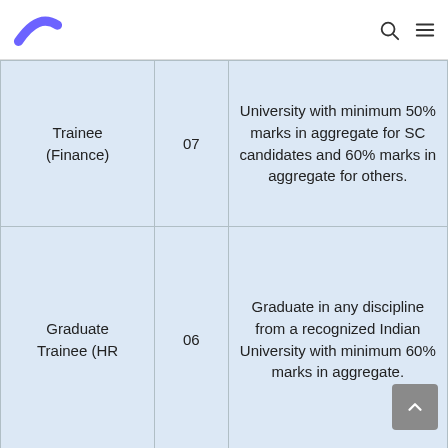Logo and navigation icons (search, menu)
| Position | Vacancies | Qualification |
| --- | --- | --- |
| Trainee (Finance) | 07 | University with minimum 50% marks in aggregate for SC candidates and 60% marks in aggregate for others. |
| Graduate Trainee (HR | 06 | Graduate in any discipline from a recognized Indian University with minimum 60% marks in aggregate. |
| ... | ... | ...Diploma i... |